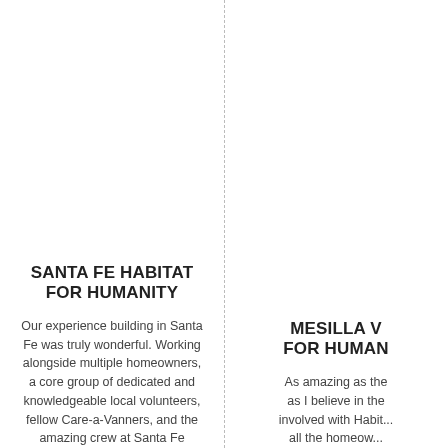SANTA FE HABITAT FOR HUMANITY
Our experience building in Santa Fe was truly wonderful. Working alongside multiple homeowners, a core group of dedicated and knowledgeable local volunteers, fellow Care-a-Vanners, and the amazing crew at Santa Fe
MESILLA V... FOR HUMAN...
As amazing as the ... as I believe in the ... involved with Habit... all the homeow...